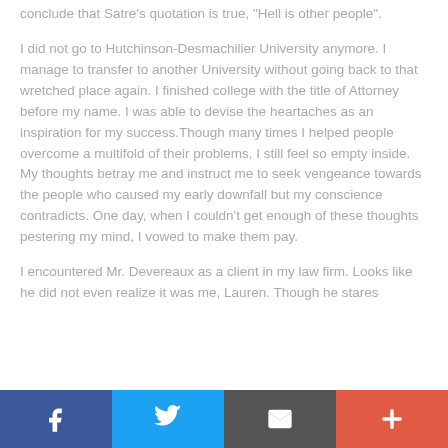...farthest corner of the campus and stared you hard. I can finally conclude that Satre's quotation is true, "Hell is other people".
I did not go to Hutchinson-Desmachilier University anymore. I manage to transfer to another University without going back to that wretched place again. I finished college with the title of Attorney before my name. I was able to devise the heartaches as an inspiration for my success.Though many times I helped people overcome a multifold of their problems, I still feel so empty inside. My thoughts betray me and instruct me to seek vengeance towards the people who caused my early downfall but my conscience contradicts. One day, when I couldn't get enough of these thoughts pestering my mind, I vowed to make them pay.
I encountered Mr. Devereaux as a client in my law firm. Looks like he did not even realize it was me, Lauren. Though he stares ...
[Figure (other): Social sharing bar with Facebook, Twitter, Email/share, and plus buttons]